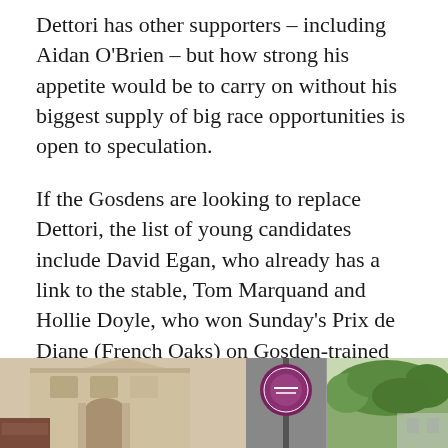Dettori has other supporters – including Aidan O'Brien – but how strong his appetite would be to carry on without his biggest supply of big race opportunities is open to speculation.
If the Gosdens are looking to replace Dettori, the list of young candidates include David Egan, who already has a link to the stable, Tom Marquand and Hollie Doyle, who won Sunday's Prix de Diane (French Oaks) on Gosden-trained Nashwa.
Doyle is retained by Nashwa's owner – with John Gosden speaking in glowing terms about Britain's most successful female jockey.
[Figure (photo): Three partial photos at the bottom of the page: a building facade on the left, a circular sign or emblem in the center, and trees/foliage on the right.]